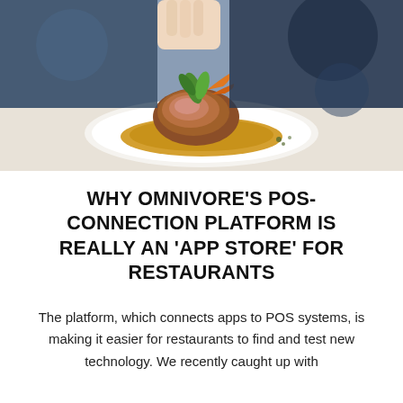[Figure (photo): Close-up photograph of a gourmet dish — a piece of roasted meat topped with fresh basil leaves, served on a crispy base on a white plate. A hand is visible at the top garnishing the dish.]
WHY OMNIVORE'S POS-CONNECTION PLATFORM IS REALLY AN 'APP STORE' FOR RESTAURANTS
The platform, which connects apps to POS systems, is making it easier for restaurants to find and test new technology. We recently caught up with